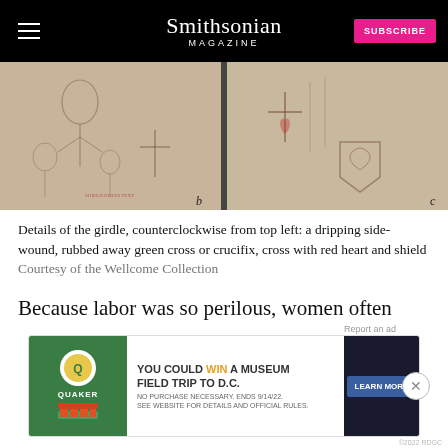Smithsonian MAGAZINE
[Figure (photo): Two panels of an aged parchment girdle showing faint medieval illustrations: left panel labeled 'b' shows a dripping side-wound and rubbed away green cross or crucifix; right panel labeled 'c' shows a cross with red heart and shield.]
Details of the girdle, counterclockwise from top left: a dripping side-wound, rubbed away green cross or crucifix, cross with red heart and shield Courtesy of the Wellcome Collection
Because labor was so perilous, women often
chanted religious litanies or used amulets to aid the p... ...me women held objects like cheese or butter this